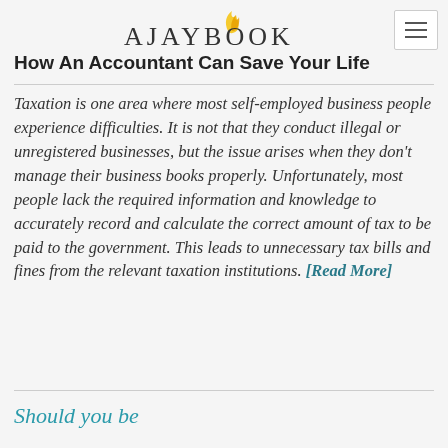[Figure (logo): AJAYBOOK logo with yellow flame graphic above the letters]
How An Accountant Can Save Your Life
Taxation is one area where most self-employed business people experience difficulties. It is not that they conduct illegal or unregistered businesses, but the issue arises when they don't manage their business books properly. Unfortunately, most people lack the required information and knowledge to accurately record and calculate the correct amount of tax to be paid to the government. This leads to unnecessary tax bills and fines from the relevant taxation institutions. [Read More]
Should you be